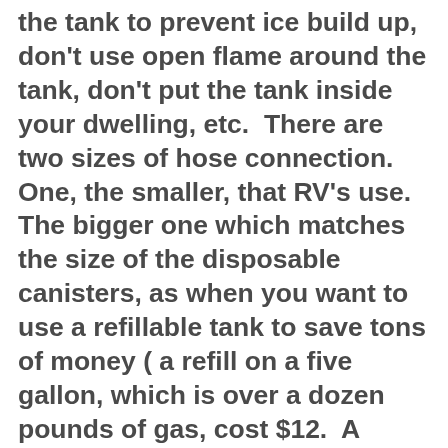the tank to prevent ice build up, don't use open flame around the tank, don't put the tank inside your dwelling, etc.  There are two sizes of hose connection.  One, the smaller, that RV's use.  The bigger one which matches the size of the disposable canisters, as when you want to use a refillable tank to save tons of money ( a refill on a five gallon, which is over a dozen pounds of gas, cost $12.  A disposable tank holds one pound for $3-three times as expensive ).  I prefer the smaller connections.  The regulator is on the hose at the tank connection rather than on the appliance, and Wal-Mat sells the larger size connection hoses and if you've shopped there in the last eight